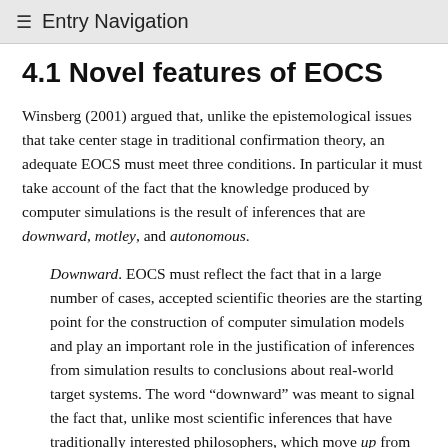≡ Entry Navigation
4.1 Novel features of EOCS
Winsberg (2001) argued that, unlike the epistemological issues that take center stage in traditional confirmation theory, an adequate EOCS must meet three conditions. In particular it must take account of the fact that the knowledge produced by computer simulations is the result of inferences that are downward, motley, and autonomous.
Downward. EOCS must reflect the fact that in a large number of cases, accepted scientific theories are the starting point for the construction of computer simulation models and play an important role in the justification of inferences from simulation results to conclusions about real-world target systems. The word “downward” was meant to signal the fact that, unlike most scientific inferences that have traditionally interested philosophers, which move up from observation instances to theories, here we have inferences that are drawn (in part) from high theory,